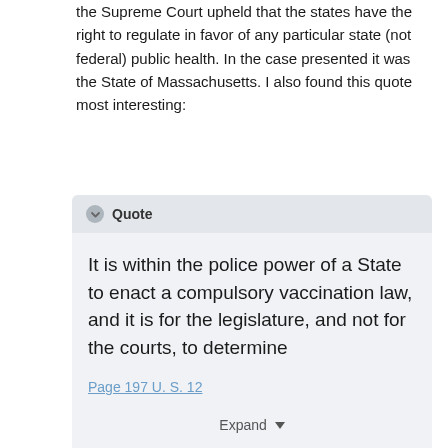the Supreme Court upheld that the states have the right to regulate in favor of any particular state (not federal) public health.  In the case presented it was the State of Massachusetts.   I also found this quote most interesting:
Quote
It is within the police power of a State to enact a compulsory vaccination law, and it is for the legislature, and not for the courts, to determine
Page 197 U. S. 12
Expand
Also this clearly states that the mandate is up the the legislature (not the courts or the executive branch) to create the mandate.  In addition we know that the current vaccine does not prevent COVID or that it is the " BEST" means of protecting public health - especially since the virus has